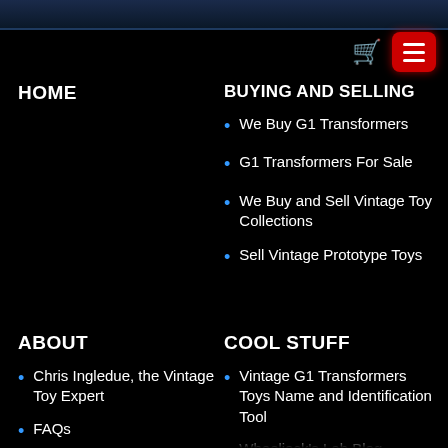Navigation menu header bar with cart and menu icons
HOME
BUYING AND SELLING
We Buy G1 Transformers
G1 Transformers For Sale
We Buy and Sell Vintage Toy Collections
Sell Vintage Prototype Toys
ABOUT
COOL STUFF
Chris Ingledue, the Vintage Toy Expert
FAQs
Contact Wheeljack's
Vintage G1 Transformers Toys Name and Identification Tool
Wheeljack's Lab Blog
Toy Room Reports